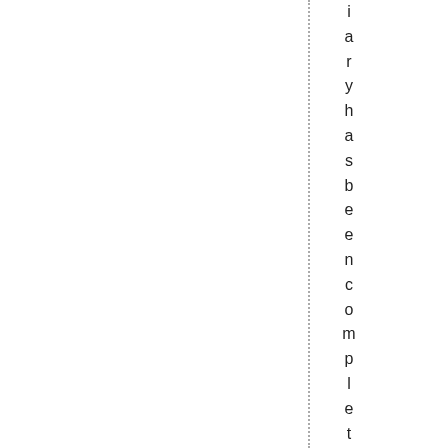iary has been completed, and will be